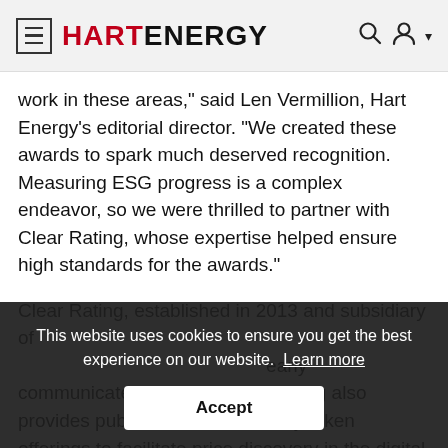HART ENERGY
work in these areas,” said Len Vermillion, Hart Energy’s editorial director. “We created these awards to spark much deserved recognition. Measuring ESG progress is a complex endeavor, so we were thrilled to partner with Clear Rating, whose expertise helped ensure high standards for the awards.”
Clear Rating, established in 2013 and subsidiary of ... clearly communicate... Clear Rating also provides pub... recommendations on security token offerings to facilitate price discovery in the digital
This website uses cookies to ensure you get the best experience on our website. Learn more
Accept